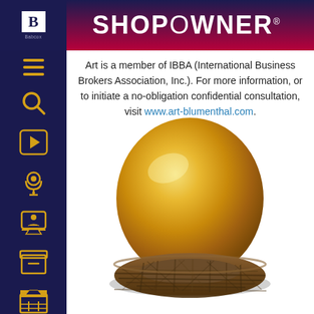SHOPOWNER
Art is a member of IBBA (International Business Brokers Association, Inc.). For more information, or to initiate a no-obligation confidential consultation, visit www.art-blumenthal.com.
[Figure (photo): A golden egg sitting in a woven nest, symbolizing financial savings or retirement investment.]